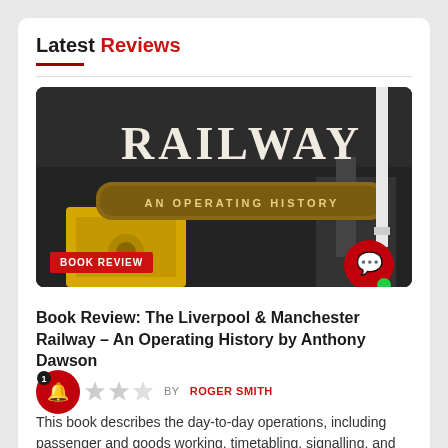Latest Reviews
[Figure (photo): Book cover image showing 'Railway: An Operating History' with dark background featuring train machinery, with a 'BOOK REVIEW' badge overlaid in the bottom left corner.]
Book Review: The Liverpool & Manchester Railway – An Operating History by Anthony Dawson
BY ROGER SMITH (4-star rating)
This book describes the day-to-day operations, including passenger and goods working, timetabling, signalling, and rules and regulations.